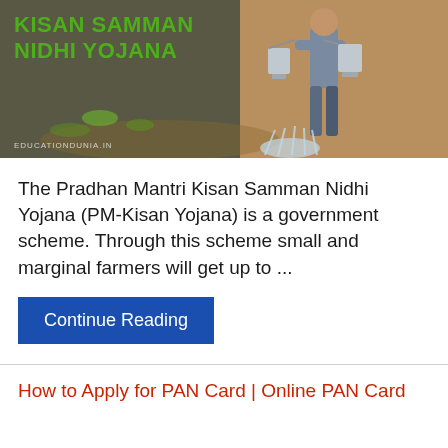[Figure (photo): Kisan Samman Nidhi Yojana banner image showing a farmer watering crops with text 'KISAN SAMMAN NIDHI YOJANA' in green on dark background and watermark 'EDUCATIONDUNIA.IN']
The Pradhan Mantri Kisan Samman Nidhi Yojana (PM-Kisan Yojana) is a government scheme. Through this scheme small and marginal farmers will get up to ...
Continue Reading
How to Apply for PAN Card | Online PAN Card